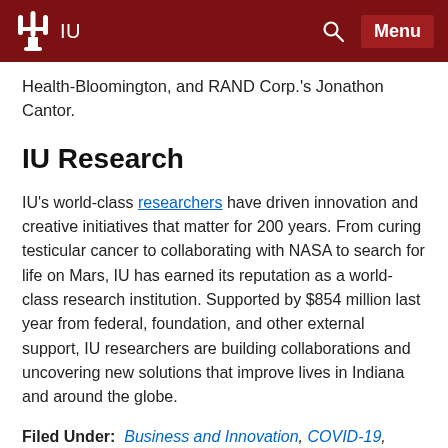IU  Menu
Health-Bloomington, and RAND Corp.'s Jonathon Cantor.
IU Research
IU's world-class researchers have driven innovation and creative initiatives that matter for 200 years. From curing testicular cancer to collaborating with NASA to search for life on Mars, IU has earned its reputation as a world-class research institution. Supported by $854 million last year from federal, foundation, and other external support, IU researchers are building collaborations and uncovering new solutions that improve lives in Indiana and around the globe.
Filed Under:  Business and Innovation, COVID-19,